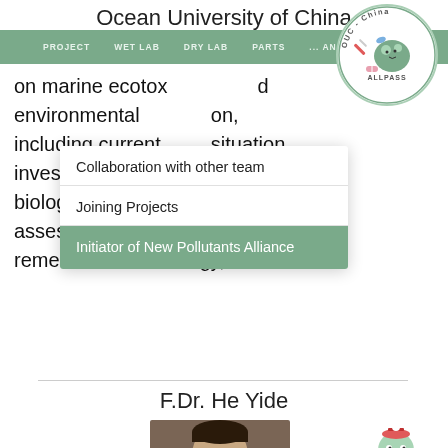Ocean University of China
[Figure (logo): OUC-China ALLPASS circular logo with cartoon microorganism character and laboratory icons]
on marine ecotoxicology and environmental protection, including current situation investigation of marine pollutants, biological toxicity, ecological risk assessment, environmental remediation technology, etc.
Collaboration with other team
Joining Projects
Initiator of New Pollutants Alliance
F.Dr. He Yide
[Figure (photo): Portrait photo of F.Dr. He Yide, a man wearing glasses]
[Figure (illustration): Small mascot character illustration]